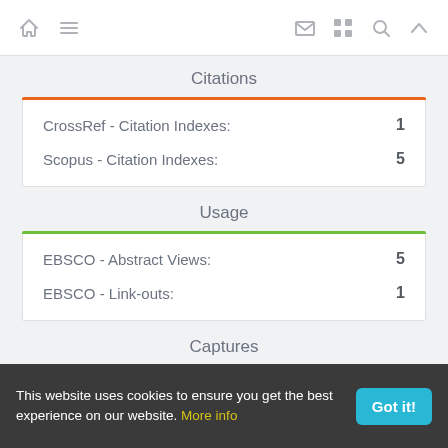Navigation bar with home, menu, mail, grid, search, up icons
Citations
|  |  |
| --- | --- |
| CrossRef - Citation Indexes: | 1 |
| Scopus - Citation Indexes: | 5 |
Usage
|  |  |
| --- | --- |
| EBSCO - Abstract Views: | 5 |
| EBSCO - Link-outs: | 1 |
Captures
This website uses cookies to ensure you get the best experience on our website. More info